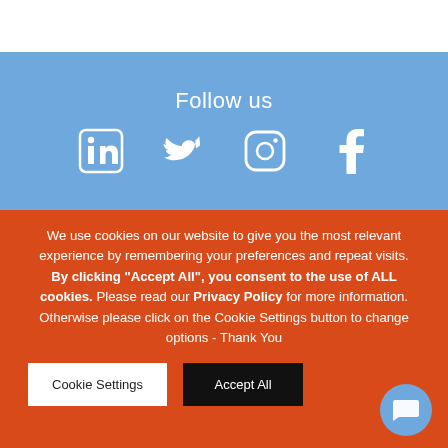Follow us
[Figure (infographic): Social media icons: LinkedIn, Twitter, Instagram, Facebook on blue background]
We use cookies on our website to give you the most relevant experience by remembering your preferences and repeat visits. By clicking “Accept All”, you consent to the use of ALL cookies. Please read our Privacy Policy for more information. Otherwise please click on the Cookie Settings button to change options - Thank You